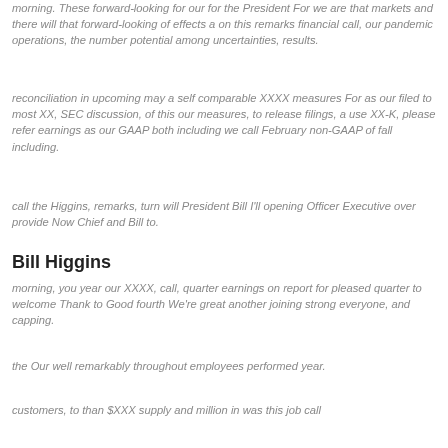morning. These forward-looking for our for the President For we are that markets and there will that forward-looking of effects a on this remarks financial call, our pandemic operations, the number potential among uncertainties, results.
reconciliation in upcoming may a self comparable XXXX measures For as our filed to most XX, SEC discussion, of this our measures, to release filings, a use XX-K, please refer earnings as our GAAP both including we call February non-GAAP of fall including.
call the Higgins, remarks, turn will President Bill I'll opening Officer Executive over provide Now Chief and Bill to.
Bill Higgins
morning, you year our XXXX, call, quarter earnings on report for pleased quarter to welcome Thank to Good fourth We're great another joining strong everyone, and capping.
the Our well remarkably throughout employees performed year.
customers, to than $XXX supply and million in was this job call